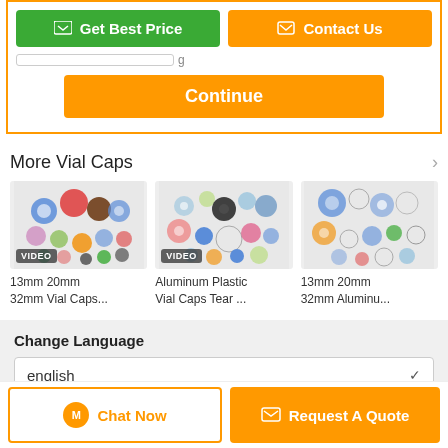[Figure (screenshot): Green 'Get Best Price' button and orange 'Contact Us' button at top]
[Figure (screenshot): Orange 'Continue' button inside a form area with orange border]
More  Vial Caps
[Figure (photo): 13mm 20mm 32mm Vial Caps product image with VIDEO badge]
13mm 20mm 32mm Vial Caps...
[Figure (photo): Aluminum Plastic Vial Caps Tear product image with VIDEO badge]
Aluminum Plastic Vial Caps Tear ...
[Figure (photo): 13mm 20mm 32mm Aluminum vial caps product image]
13mm 20mm 32mm Aluminu...
Change Language
english
[Figure (screenshot): Bottom bar with Chat Now button and Request A Quote button]